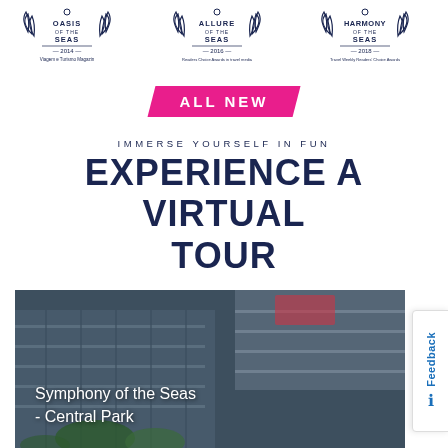[Figure (other): Three cruise ship award badges: Oasis of the Seas 2014 (Viagem e Turismo Magazin), Allure of the Seas 2016 (Readers Choice Awards in travel media), Harmony of the Seas 2018 (Travel Weekly Readers Choice Awards)]
ALL NEW
IMMERSE YOURSELF IN FUN
EXPERIENCE A VIRTUAL TOUR
[Figure (photo): Virtual tour screenshot of Symphony of the Seas - Central Park, showing the interior of a cruise ship with balconies and greenery, dark/twilight lighting]